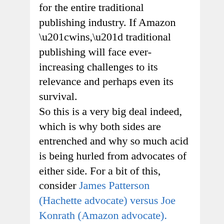for the entire traditional publishing industry. If Amazon “wins,” traditional publishing will face ever-increasing challenges to its relevance and perhaps even its survival.
So this is a very big deal indeed, which is why both sides are entrenched and why so much acid is being hurled from advocates of either side. For a bit of this, consider James Patterson (Hachette advocate) versus Joe Konrath (Amazon advocate).
Which brings me to  Michael Corleone. You’ll recall that Michael is the good son, the Army vet who comes back from the war determined not to get involved with